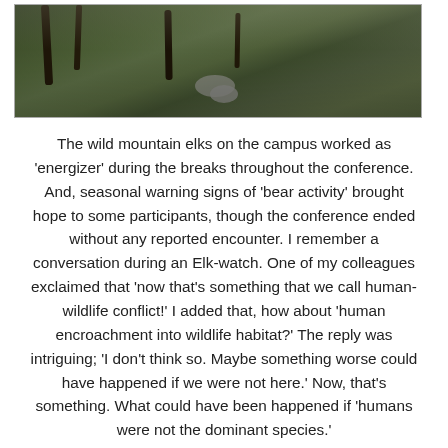[Figure (photo): Outdoor forest/hillside scene with trees and rocky terrain, dark green foliage, muted natural tones]
The wild mountain elks on the campus worked as 'energizer' during the breaks throughout the conference. And, seasonal warning signs of 'bear activity' brought hope to some participants, though the conference ended without any reported encounter. I remember a conversation during an Elk-watch. One of my colleagues exclaimed that 'now that's something that we call human-wildlife conflict!' I added that, how about 'human encroachment into wildlife habitat?' The reply was intriguing; 'I don't think so. Maybe something worse could have happened if we were not here.' Now, that's something. What could have been happened if 'humans were not the dominant species.'
It's not my purpose here to inventory all the sessions and presentations I attended, but just a few notes are in order.